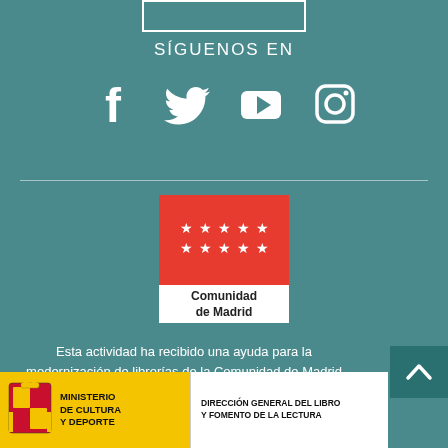[Figure (other): Search input box outline at top]
SÍGUENOS EN
[Figure (other): Social media icons: Facebook, Twitter, YouTube, Instagram]
[Figure (logo): Comunidad de Madrid logo - red square with five white stars and text below]
Esta actividad ha recibido una ayuda para la modernización de librerías de la Comunidad de Madrid correspondiente al año 2020
[Figure (logo): Ministerio de Cultura y Deporte logo with yellow background and Spanish coat of arms, alongside Dirección General del Libro y Fomento de la Lectura]